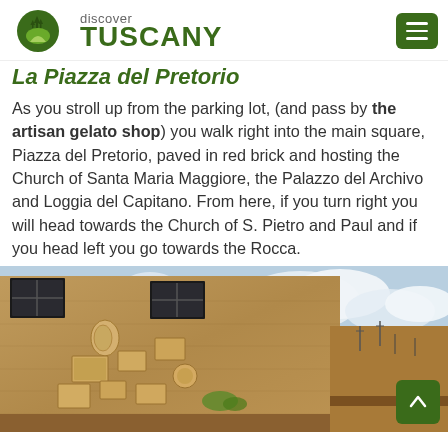discover TUSCANY
La Piazza del Pretorio
As you stroll up from the parking lot, (and pass by the artisan gelato shop) you walk right into the main square, Piazza del Pretorio, paved in red brick and hosting the Church of Santa Maria Maggiore, the Palazzo del Archivo and Loggia del Capitano. From here, if you turn right you will head towards the Church of S. Pietro and Paul and if you head left you go towards the Rocca.
[Figure (photo): Stone building facade with carved relief plaques and coats of arms, Piazza del Pretorio, Tuscany. Cloudy sky visible above rooftops in the background.]